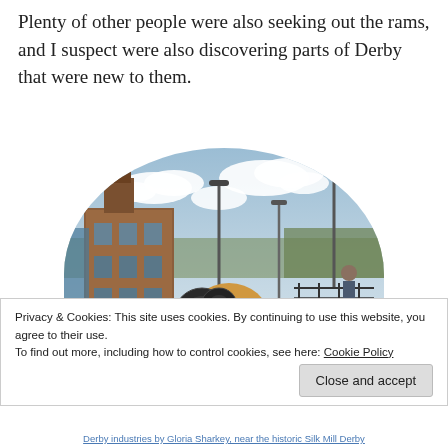Plenty of other people were also seeking out the rams, and I suspect were also discovering parts of Derby that were new to them.
[Figure (photo): A semicircular cropped photograph showing a decorated ram sculpture in the foreground with a brick building and street scene in Derby in the background under a partly cloudy sky.]
Privacy & Cookies: This site uses cookies. By continuing to use this website, you agree to their use.
To find out more, including how to control cookies, see here: Cookie Policy
Close and accept
Derby industries by Gloria Sharkey, near the historic Silk Mill Derby